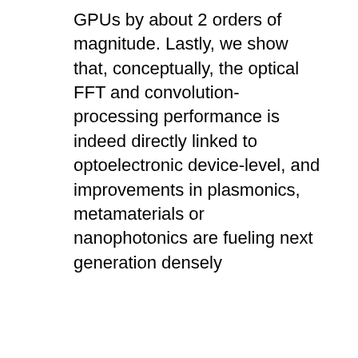GPUs by about 2 orders of magnitude. Lastly, we show that, conceptually, the optical FFT and convolution-processing performance is indeed directly linked to optoelectronic device-level, and improvements in plasmonics, metamaterials or nanophotonics are fueling next generation densely